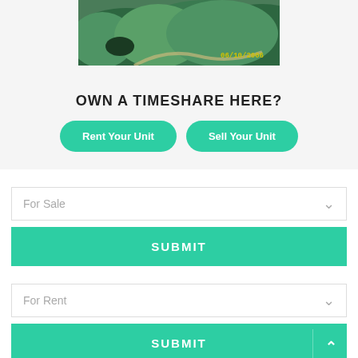[Figure (photo): Aerial photo of a forested hillside with a road/trail, dated 06/10/2006]
OWN A TIMESHARE HERE?
Rent Your Unit
Sell Your Unit
For Sale
SUBMIT
For Rent
SUBMIT